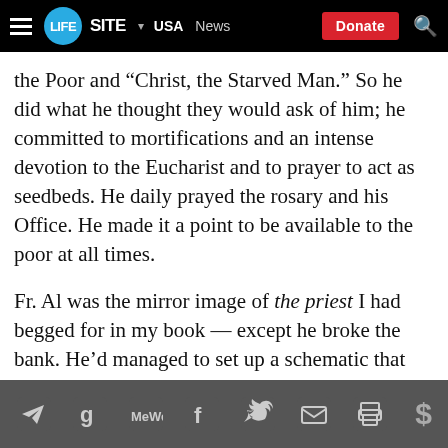LIFESITE ▾ USA  News  Donate
the Poor and “Christ, the Starved Man.” So he did what he thought they would ask of him; he committed to mortifications and an intense devotion to the Eucharist and to prayer to act as seedbeds. He daily prayed the rosary and his Office. He made it a point to be available to the poor at all times.
Fr. Al was the mirror image of the priest I had begged for in my book — except he broke the bank. He’d managed to set up a schematic that pulled hundreds of thousands of the poor from poverty, many of whom lived in trash dumps with names like Smokey Mountain and Ragpickers Camp in Korea and the Philippines. Where Mother Teresa picked the dying man off the street, Fr. Al made sure he was never
Share icons: Telegram, Google, MeWe, Facebook, Twitter, Email, Print, Donate